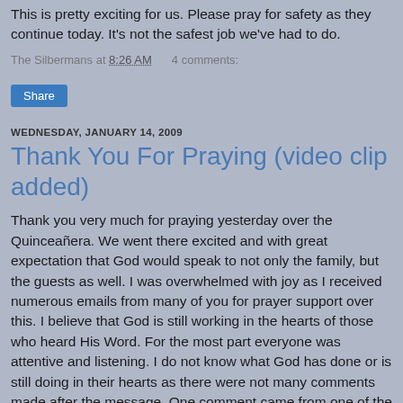This is pretty exciting for us. Please pray for safety as they continue today. It's not the safest job we've had to do.
The Silbermans at 8:26 AM   4 comments:
Share
WEDNESDAY, JANUARY 14, 2009
Thank You For Praying (video clip added)
Thank you very much for praying yesterday over the Quinceañera. We went there excited and with great expectation that God would speak to not only the family, but the guests as well. I was overwhelmed with joy as I received numerous emails from many of you for prayer support over this. I believe that God is still working in the hearts of those who heard His Word. For the most part everyone was attentive and listening. I do not know what God has done or is still doing in their hearts as there were not many comments made after the message. One comment came from one of the former candidates for the Presidential Seat